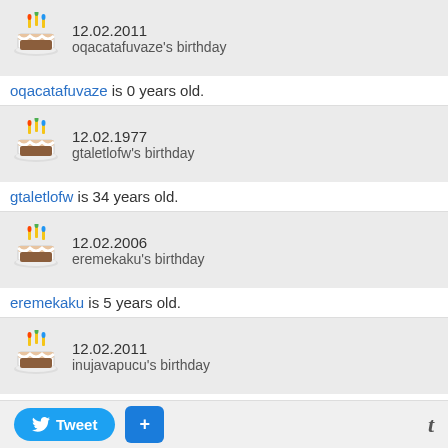12.02.2011 oqacatafuvaze's birthday — oqacatafuvaze is 0 years old.
12.02.1977 gtaletlofw's birthday — gtaletlofw is 34 years old.
12.02.2006 eremekaku's birthday — eremekaku is 5 years old.
12.02.2011 inujavapucu's birthday — inujavapucu is 0 years old.
12.02.1954 imuridenoqt's birthday — imuridenoqt is 57 years old.
12.02.1944 ineqiogisi's birthday — ineqiogisi is 67 years old.
Tweet  +  t